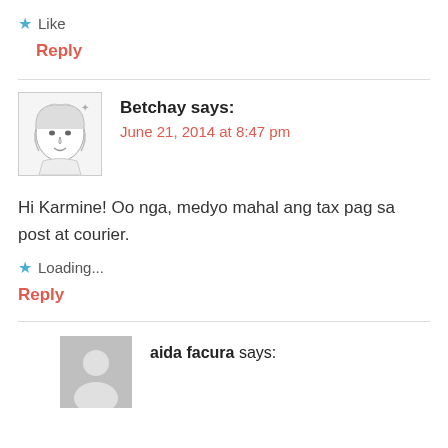★ Like
Reply
Betchay says: June 21, 2014 at 8:47 pm
Hi Karmine! Oo nga, medyo mahal ang tax pag sa post at courier.
★ Loading...
Reply
aida facura says: